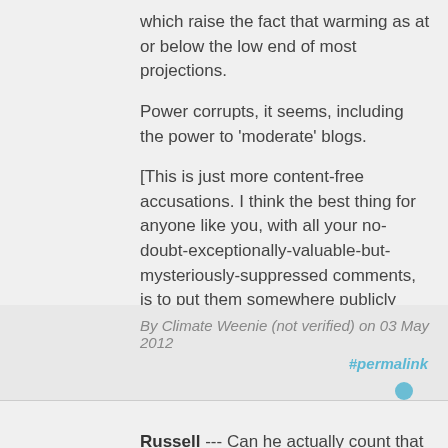which raise the fact that warming as at or below the low end of most projections.

Power corrupts, it seems, including the power to 'moderate' blogs.

[This is just more content-free accusations. I think the best thing for anyone like you, with all your no-doubt-exceptionally-valuable-but-mysteriously-suppressed comments, is to put them somewhere publicly visible, so we can all judge you wondrous insights. Its what I do Otherwise, you're just mumbling into your beer - W]
Log in to post comments
By Climate Weenie (not verified) on 03 May 2012
#permalink
[Figure (illustration): Blue user avatar icon]
Russell --- Can he actually count that high?